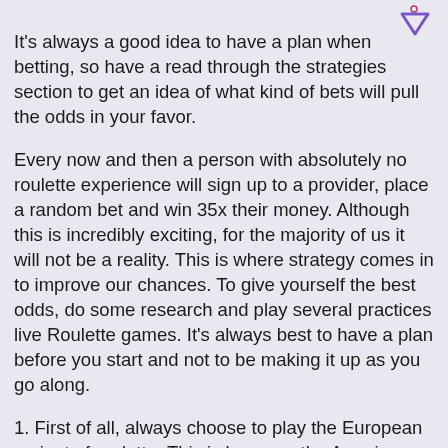[Figure (logo): Purple/violet arrow-like logo icon in the top right corner]
It's always a good idea to have a plan when betting, so have a read through the strategies section to get an idea of what kind of bets will pull the odds in your favor.
Every now and then a person with absolutely no roulette experience will sign up to a provider, place a random bet and win 35x their money. Although this is incredibly exciting, for the majority of us it will not be a reality. This is where strategy comes in to improve our chances. To give yourself the best odds, do some research and play several practices live Roulette games. It's always best to have a plan before you start and not to be making it up as you go along.
1. First of all, always choose to play the European variant of roulette. This is because the American version has an additional 0, which increases the house edge significantly. The payouts are identical across the variants.